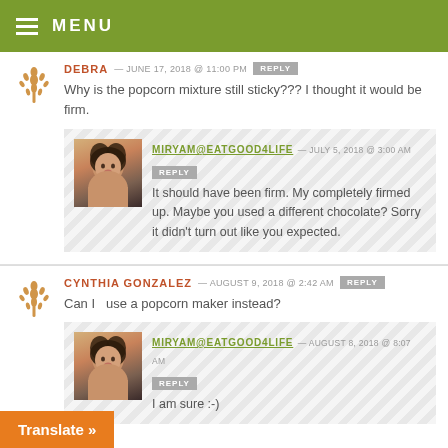MENU
DEBRA — JUNE 17, 2018 @ 11:00 PM   REPLY
Why is the popcorn mixture still sticky??? I thought it would be firm.
MIRYAM@EATGOOD4LIFE — JULY 5, 2018 @ 3:00 AM   REPLY
It should have been firm. My completely firmed up. Maybe you used a different chocolate? Sorry it didn't turn out like you expected.
CYNTHIA GONZALEZ — AUGUST 9, 2018 @ 2:42 AM   REPLY
Can I  use a popcorn maker instead?
MIRYAM@EATGOOD4LIFE — AUGUST 8, 2018 @ 8:07 AM   REPLY
I am sure :-)
Translate »